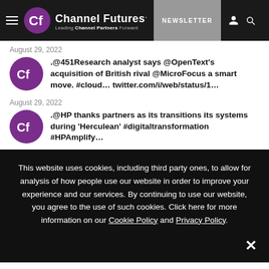Channel Futures. Leading Channel Partners Forward | NEWSLETTER
August 29, 2022
.@451Research analyst says @OpenText's acquisition of British rival @MicroFocus a smart move. #cloud… twitter.com/i/web/status/1…
August 29, 2022
.@HP thanks partners as its transitions its systems during 'Herculean' #digitaltransformation #HPAmplify…
This website uses cookies, including third party ones, to allow for analysis of how people use our website in order to improve your experience and our services. By continuing to use our website, you agree to the use of such cookies. Click here for more information on our Cookie Policy and Privacy Policy.